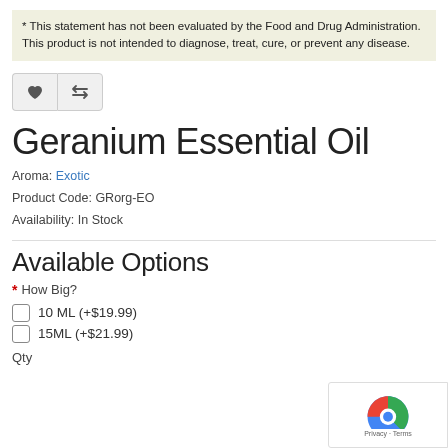* This statement has not been evaluated by the Food and Drug Administration. This product is not intended to diagnose, treat, cure, or prevent any disease.
[Figure (other): Two icon buttons: a heart (wishlist) and a compare arrows icon]
Geranium Essential Oil
Aroma: Exotic
Product Code: GRorg-EO
Availability: In Stock
Available Options
* How Big?
10 ML (+$19.99)
15ML (+$21.99)
Qty